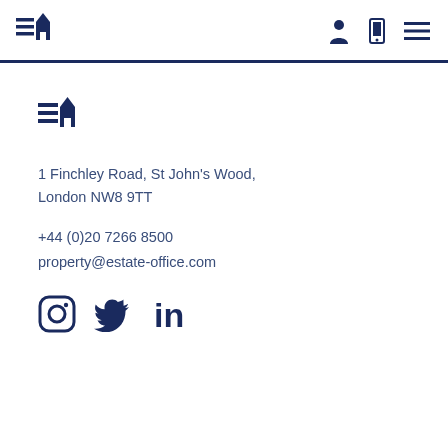Estate Office logo and navigation icons
[Figure (logo): Estate Office building logo in navy blue, repeated in body]
1 Finchley Road, St John's Wood, London NW8 9TT
+44 (0)20 7266 8500
property@estate-office.com
[Figure (other): Social media icons: Instagram, Twitter, LinkedIn in navy blue]